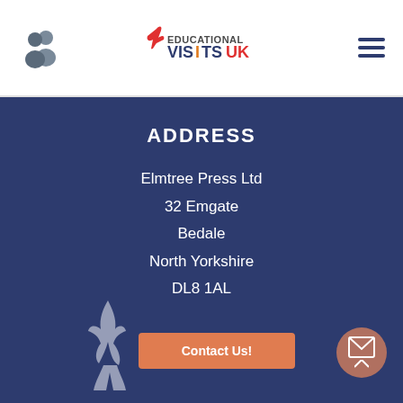[Figure (logo): User/people icon (two silhouette figures) in grey]
[Figure (logo): Educational Visits UK logo with red bird mark and coloured text]
[Figure (logo): Hamburger menu icon (three dark blue horizontal lines)]
ADDRESS
Elmtree Press Ltd
32 Emgate
Bedale
North Yorkshire
DL8 1AL
[Figure (illustration): White silhouette of a leaping/dancing figure on dark blue background]
Contact Us!
[Figure (illustration): Envelope icon in circular brownish-rose button with up arrow]